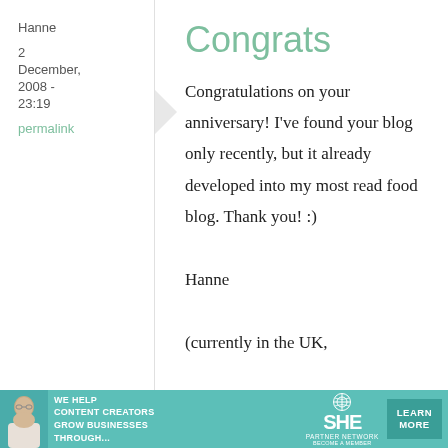Hanne
2
December, 2008 - 23:19
permalink
Congrats
Congratulations on your anniversary! I've found your blog only recently, but it already developed into my most read food blog. Thank you! :)
Hanne
(currently in the UK,
[Figure (infographic): Advertisement banner for SHE Media Partner Network: 'We help content creators grow businesses through...' with a learn more button and logo]